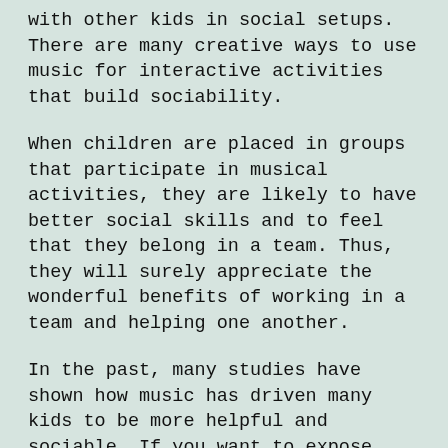with other kids in social setups. There are many creative ways to use music for interactive activities that build sociability.
When children are placed in groups that participate in musical activities, they are likely to have better social skills and to feel that they belong in a team. Thus, they will surely appreciate the wonderful benefits of working in a team and helping one another.
In the past, many studies have shown how music has driven many kids to be more helpful and sociable. If you want to expose your kids early through fun, age-appropriate music, you ought to try the Name Your Tune personalized audio CDs from SignatureLittleOnes.com. These contain a lot of enjoyable and catchy songs, all the while making use of your child's name. You then receive...